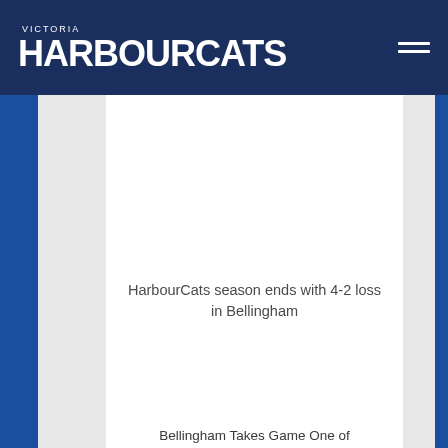VICTORIA HARBOURCATS
HarbourCats season ends with 4-2 loss in Bellingham
Bellingham Takes Game One of